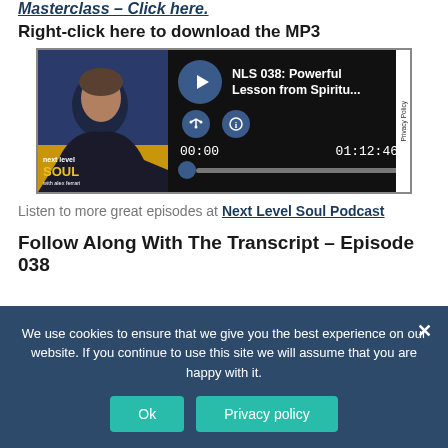Masterclass – Click here.
Right-click here to download the MP3
[Figure (screenshot): Podcast audio player for 'NLS 038: Powerful Lesson from Spiritu...' with play button, share/info icons, time display 00:00 / 01:12:46, and progress bar. Left side shows Next Level Soul podcast cover art with host photo.]
Listen to more great episodes at Next Level Soul Podcast
Follow Along With The Transcript – Episode 038
We use cookies to ensure that we give you the best experience on our website. If you continue to use this site we will assume that you are happy with it.
Ok
Privacy policy